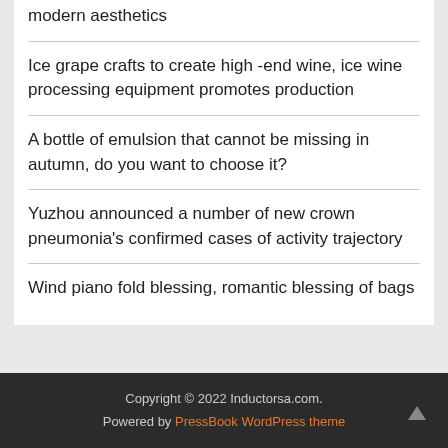modern aesthetics
Ice grape crafts to create high -end wine, ice wine processing equipment promotes production
A bottle of emulsion that cannot be missing in autumn, do you want to choose it?
Yuzhou announced a number of new crown pneumonia's confirmed cases of activity trajectory
Wind piano fold blessing, romantic blessing of bags
Copyright © 2022 Inductorsa.com.
Powered by PressBook WordPress theme